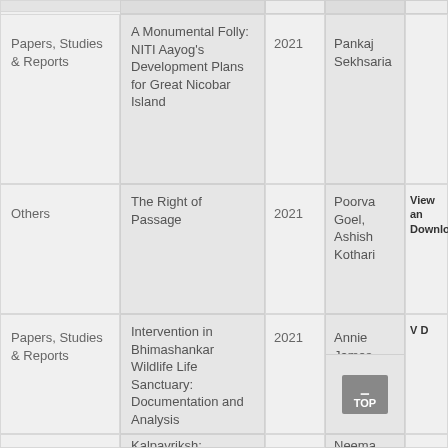| Category | Title | Year | Author(s) | Action |
| --- | --- | --- | --- | --- |
| Papers, Studies & Reports | A Monumental Folly: NITI Aayog's Development Plans for Great Nicobar Island | 2021 | Pankaj Sekhsaria |  |
| Others | The Right of Passage | 2021 | Poorva Goel, Ashish Kothari | View and Download |
| Papers, Studies & Reports | Intervention in Bhimashankar Wildlife Life Sanctuary: Documentation and Analysis | 2021 | Annie James | View and Download |
|  | Kalpavriksh: Intervention in | 2021 | Neema |  |